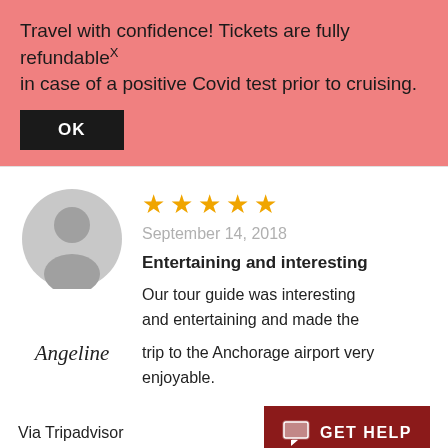Travel with confidence! Tickets are fully refundable in case of a positive Covid test prior to cruising.
OK
★★★★★
September 14, 2018
[Figure (illustration): Gray circular avatar with silhouette of a person (head and shoulders)]
Entertaining and interesting
Angeline
Our tour guide was interesting and entertaining and made the trip to the Anchorage airport very enjoyable.
Via Tripadvisor
GET HELP